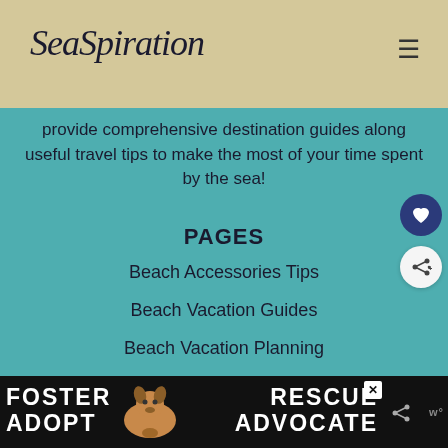SeaSpiration
provide comprehensive destination guides along useful travel tips to make the most of your time spent by the sea!
PAGES
Beach Accessories Tips
Beach Vacation Guides
Beach Vacation Planning
Things To Do At The Beach
About SeaSpiration Team
[Figure (infographic): Advertisement banner: FOSTER ADOPT with dog image, RESCUE ADVOCATE text with social icon buttons]
[Figure (infographic): Heart (like) button and share button on right side of page]